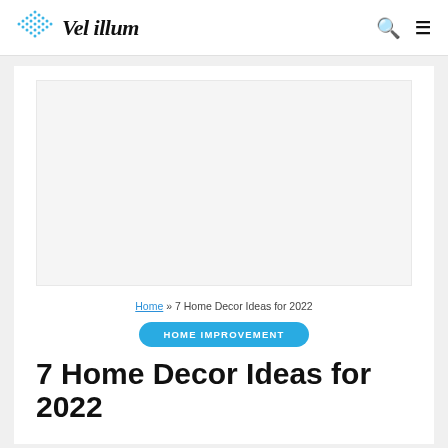Vel illum
[Figure (logo): Blue diamond/dot pattern logo next to site name 'Vel illum' in italic script font]
Home » 7 Home Decor Ideas for 2022
HOME IMPROVEMENT
7 Home Decor Ideas for 2022